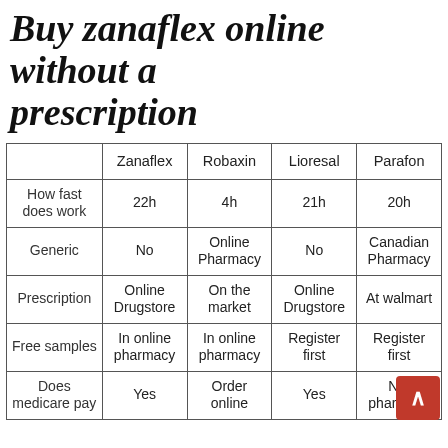Buy zanaflex online without a prescription
|  | Zanaflex | Robaxin | Lioresal | Parafon |
| --- | --- | --- | --- | --- |
| How fast does work | 22h | 4h | 21h | 20h |
| Generic | No | Online Pharmacy | No | Canadian Pharmacy |
| Prescription | Online Drugstore | On the market | Online Drugstore | At walmart |
| Free samples | In online pharmacy | In online pharmacy | Register first | Register first |
| Does medicare pay | Yes | Order online | Yes | N... pharmacy |